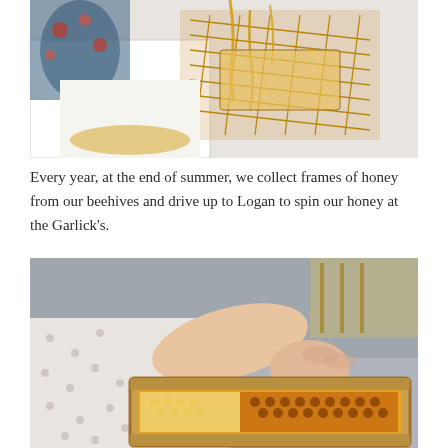[Figure (photo): Close-up photo of honey dripping from a wire rack over a container, with a person in a floral dress visible in the background]
Every year, at the end of summer, we collect frames of honey from our beehives and drive up to Logan to spin our honey at the Garlick's.
[Figure (photo): Close-up photo of hands holding a wooden-framed honeycomb frame filled with golden honey and capped beeswax cells]